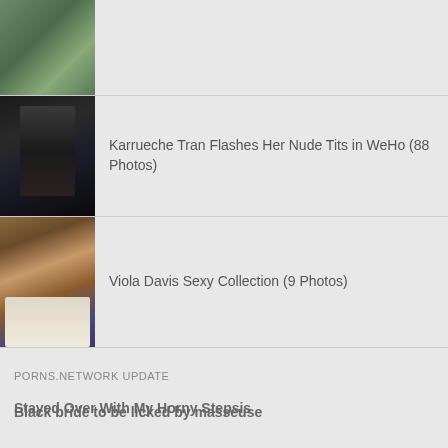[Figure (photo): Partial thumbnail of outdoor/nature scene at top]
Karrueche Tran Flashes Her Nude Tits in WeHo (88 Photos)
Viola Davis Sexy Collection (9 Photos)
PORNS.NETWORK UPDATE
Black bride to be licked by masseuse
Stayed Over With My Horny Stepsis